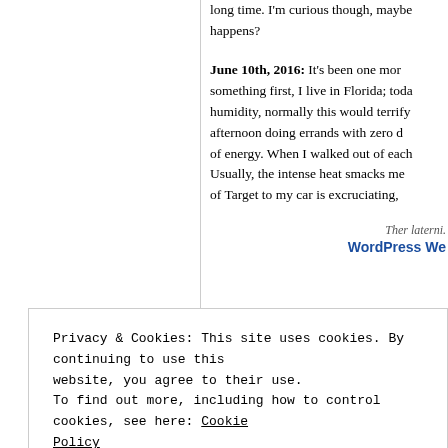long time. I'm curious though, maybe happens?
June 10th, 2016: It's been one mor something first, I live in Florida; toda humidity, normally this would terrify afternoon doing errands with zero d of energy. When I walked out of each Usually, the intense heat smacks me of Target to my car is excruciating,
WordPress W
Privacy & Cookies: This site uses cookies. By continuing to use this website, you agree to their use.
To find out more, including how to control cookies, see here: Cookie Policy
Close and accept